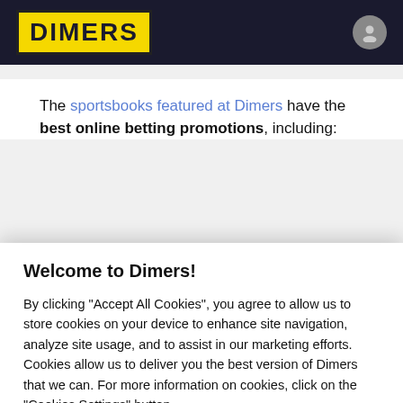DIMERS
The sportsbooks featured at Dimers have the best online betting promotions, including:
Welcome to Dimers!
By clicking "Accept All Cookies", you agree to allow us to store cookies on your device to enhance site navigation, analyze site usage, and to assist in our marketing efforts. Cookies allow us to deliver you the best version of Dimers that we can. For more information on cookies, click on the "Cookies Settings" button.
Accept All Cookies
Reject All
Cookies Settings